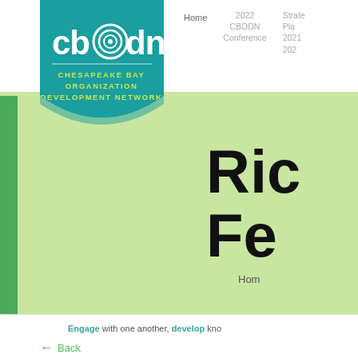[Figure (logo): CBODN logo — teal pentagon badge with 'cbodn' text and concentric circle icon, subtitle 'CHESAPEAKE BAY ORGANIZATION DEVELOPMENT NETWORK' in yellow-green]
Home   2022 CBODN Conference   Strate... Plan... 2021... 202...
Ric Fe
Home
Engage with one another, develop kno...
← Back